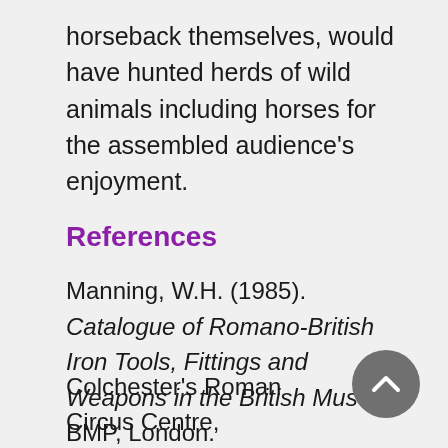horseback themselves, would have hunted herds of wild animals including horses for the assembled audience's enjoyment.
References
Manning, W.H. (1985). Catalogue of Romano-British Iron Tools, Fittings and Weapons in the British Museum, BMP, London.
Colchester's Roman Circus Centre,